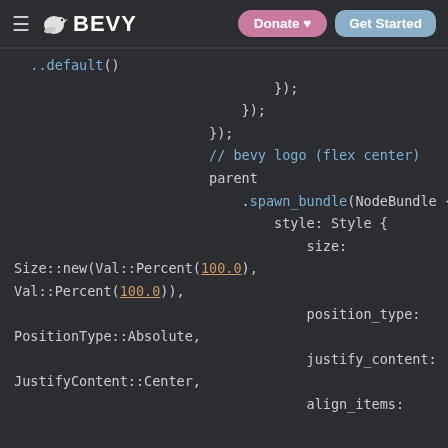≡ 🐦 BEVY  [Donate ♥]  [Get Started]
[Figure (screenshot): Bevy website header navigation bar with hamburger menu, Bevy logo, Donate and Get Started buttons]
..default()
                                });
                            });
                        });
                        // bevy logo (flex center)
                        parent
                            .spawn_bundle(NodeBundle {
                                style: Style {
                                    size:
Size::new(Val::Percent(100.0),
Val::Percent(100.0)),
                                    position_type:
PositionType::Absolute,
                                    justify_content:
JustifyContent::Center,
                                    align_items: